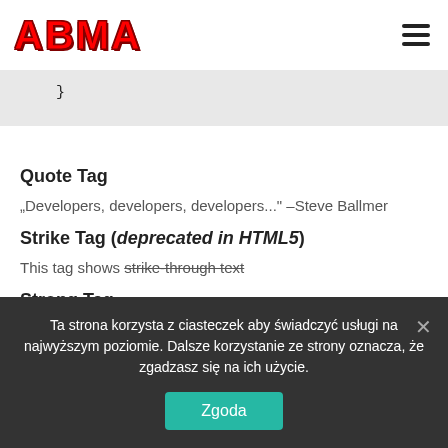ABMA
Quote Tag
„Developers, developers, developers...” –Steve Ballmer
Strike Tag (deprecated in HTML5)
This tag shows strike-through text
Strong Tag
This tag shows bold text
Ta strona korzysta z ciasteczek aby świadczyć usługi na najwyższym poziomie. Dalsze korzystanie ze strony oznacza, że zgadzasz się na ich użycie.